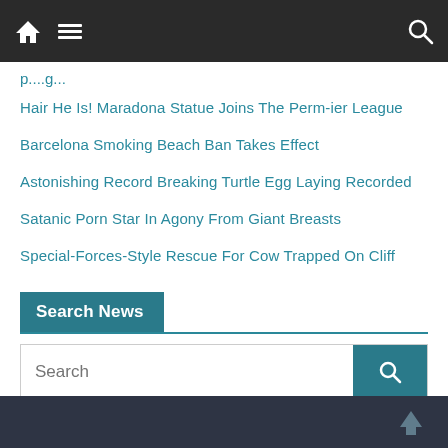Navigation bar with home, menu, and search icons
p...g... (partial link cut off at top)
Hair He Is! Maradona Statue Joins The Perm-ier League
Barcelona Smoking Beach Ban Takes Effect
Astonishing Record Breaking Turtle Egg Laying Recorded
Satanic Porn Star In Agony From Giant Breasts
Special-Forces-Style Rescue For Cow Trapped On Cliff
Search News
Search
Footer bar with back-to-top arrow